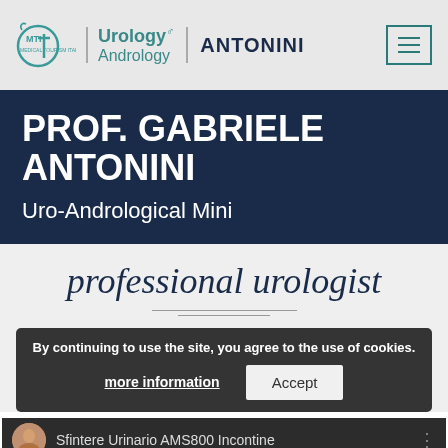MTI Urology Andrology ANTONINI — navigation bar with hamburger menu
PROF. GABRIELE ANTONINI
Uro-Andrological Mini
professional urologist
By continuing to use the site, you agree to the use of cookies. more information | Accept
Sfintere Urinario AMS800 Incontine